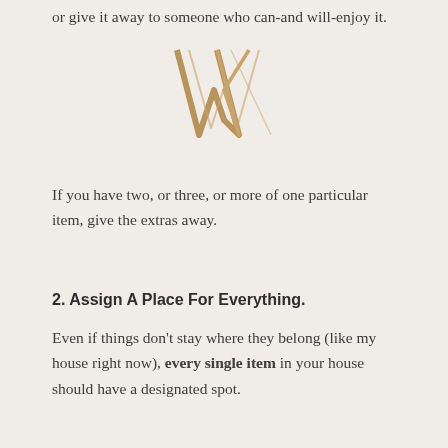or give it away to someone who can-and will-enjoy it.
[Figure (logo): Decorative W logo in gold/tan color, serif style with crossing strokes]
If you have two, or three, or more of one particular item, give the extras away.
2. Assign A Place For Everything.
Even if things don't stay where they belong (like my house right now), every single item in your house should have a designated spot.